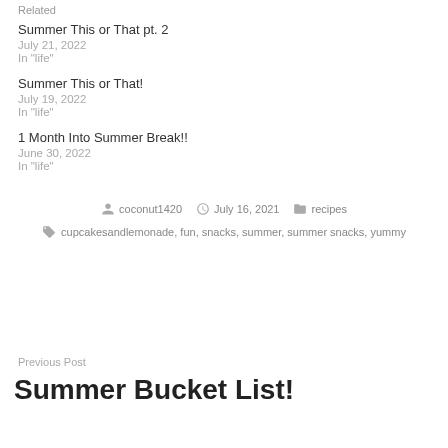Related
Summer This or That pt. 2
July 21, 2022
In "life"
Summer This or That!
July 19, 2022
In "life"
1 Month Into Summer Break!!
June 30, 2022
In "life"
coconut1420  July 16, 2021  recipes
cupcakesandlemonade, fun, snacks, summer, summer snacks, yummy
Previous Post
Summer Bucket List!